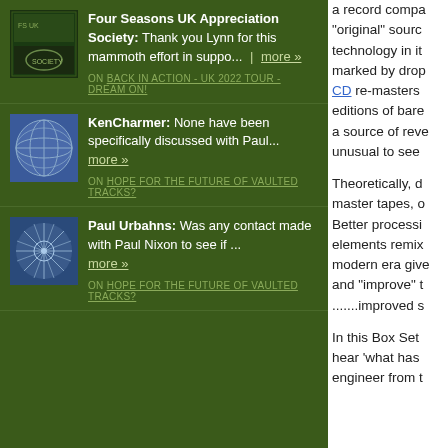Four Seasons UK Appreciation Society: Thank you Lynn for this mammoth effort in suppo... more » ON BACK IN ACTION - UK 2022 TOUR - DREAM ON!
KenCharmer: None have been specifically discussed with Paul... more » ON HOPE FOR THE FUTURE OF VAULTED TRACKS?
Paul Urbahns: Was any contact made with Paul Nixon to see if ... more » ON HOPE FOR THE FUTURE OF VAULTED TRACKS?
a record compa... "original" source... technology in it... marked by drop... CD re-masters... editions of bare... a source of reve... unusual to see...
Theoretically, d... master tapes, o... Better processi... elements remix... modern era give... and "improve" t... .......improved s...
In this Box Set ... hear 'what has ... engineer from t...